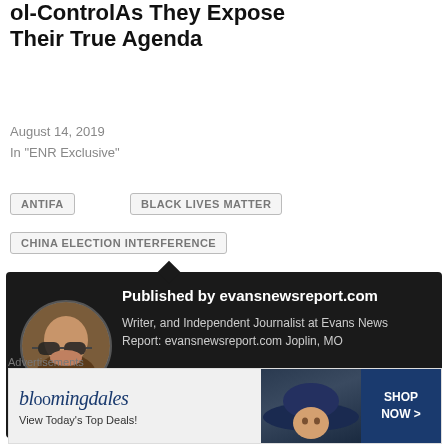ol-ControlAs They Expose Their True Agenda
August 14, 2019
In "ENR Exclusive"
ANTIFA
BLACK LIVES MATTER
CHINA ELECTION INTERFERENCE
[Figure (other): Dark card with author avatar and published by information. Shows circular profile photo of a person wearing sunglasses.]
Published by evansnewsreport.com
Writer, and Independent Journalist at Evans News Report: evansnewsreport.com Joplin, MO
Advertisements
[Figure (other): Bloomingdale's advertisement showing a woman wearing a large hat with text 'View Today's Top Deals!' and 'SHOP NOW >']